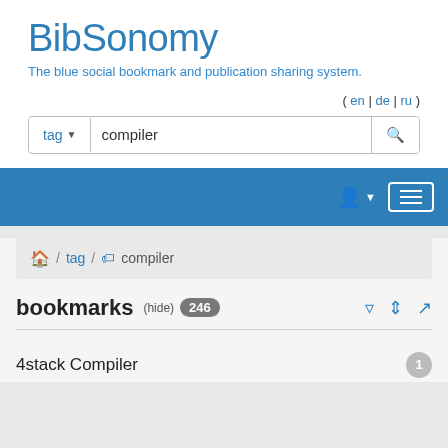BibSonomy
The blue social bookmark and publication sharing system.
( en | de | ru )
tag compiler
🏠 / tag / 🏷 compiler
bookmarks (hide) 246
4stack Compiler 1